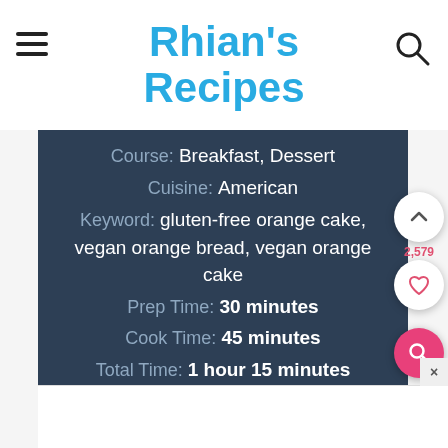Rhian's Recipes
Course: Breakfast, Dessert
Cuisine: American
Keyword: gluten-free orange cake, vegan orange bread, vegan orange cake
Prep Time: 30 minutes
Cook Time: 45 minutes
Total Time: 1 hour 15 minutes
Servings: 10 slices
Calories: 300kcal
Author: Rhian Williams